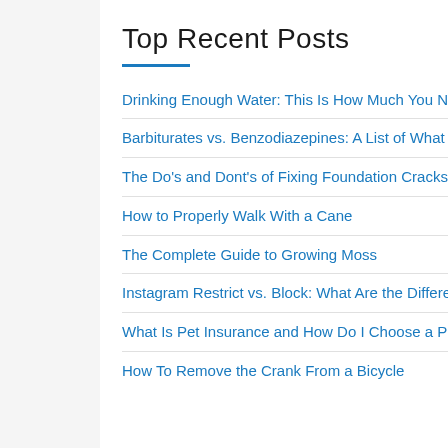Top Recent Posts
Drinking Enough Water: This Is How Much You Need Each Day
Barbiturates vs. Benzodiazepines: A List of What You Need to Know
The Do's and Dont's of Fixing Foundation Cracks
How to Properly Walk With a Cane
The Complete Guide to Growing Moss
Instagram Restrict vs. Block: What Are the Differences?
What Is Pet Insurance and How Do I Choose a Plan for Fido?
How To Remove the Crank From a Bicycle